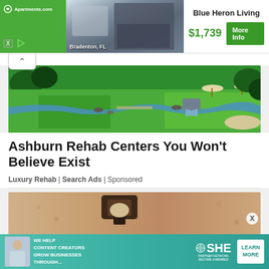[Figure (screenshot): Apartments.com advertisement banner for Blue Heron Living in Bradenton, FL showing kitchen interior photo, price $1,739 and More Info button]
[Figure (photo): Aerial view of luxury resort or rehab center with green lawns, water features, waterfalls, pool umbrellas and lush landscaping]
Ashburn Rehab Centers You Won't Believe Exist
Luxury Rehab | Search Ads | Sponsored
[Figure (photo): Close-up photo of an outdoor wall-mounted light fixture on a textured stucco wall]
[Figure (screenshot): SHE Media Partner Network advertisement: We Help Content Creators Grow Businesses Through... with Learn More button]